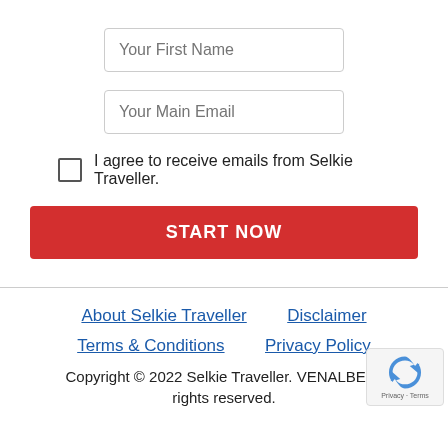Your First Name
Your Main Email
I agree to receive emails from Selkie Traveller.
START NOW
About Selkie Traveller   Disclaimer   Terms & Conditions   Privacy Policy   Copyright © 2022 Selkie Traveller. VENALBE Ltd   rights reserved.